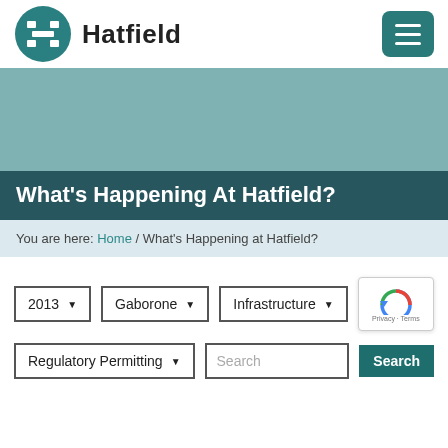[Figure (logo): Hatfield company logo: circular teal icon with stylized H, followed by the text 'Hatfield' in bold dark font]
What's Happening At Hatfield?
You are here: Home / What's Happening at Hatfield?
Filter dropdowns: 2013, Gaborone, Infrastructure, Regulatory Permitting; Search input and Search button